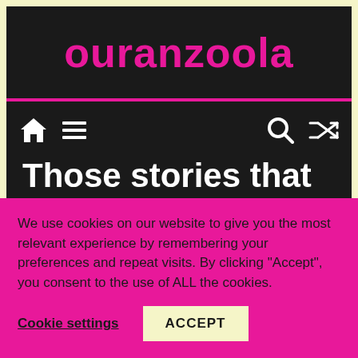ouranzoola
[Figure (screenshot): Navigation bar with home icon, hamburger menu icon, search icon, and shuffle icon on dark background]
Those stories that are going to disappear in the
We use cookies on our website to give you the most relevant experience by remembering your preferences and repeat visits. By clicking “Accept”, you consent to the use of ALL the cookies.
Cookie settings
ACCEPT